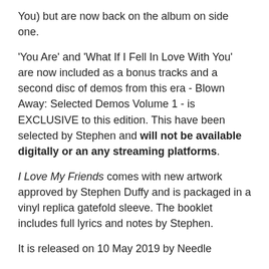You) but are now back on the album on side one.
'You Are' and 'What If I Fell In Love With You' are now included as a bonus tracks and a second disc of demos from this era - Blown Away: Selected Demos Volume 1 - is EXCLUSIVE to this edition. This have been selected by Stephen and will not be available digitally or an any streaming platforms.
I Love My Friends comes with new artwork approved by Stephen Duffy and is packaged in a vinyl replica gatefold sleeve. The booklet includes full lyrics and notes by Stephen.
It is released on 10 May 2019 by Needle